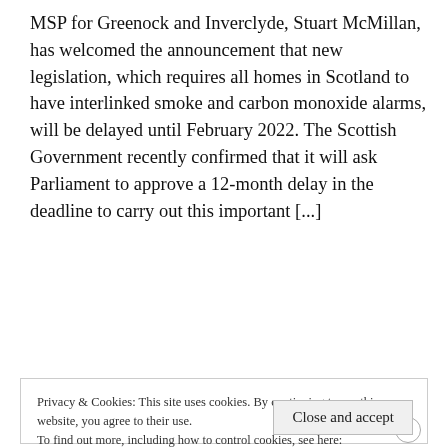MSP for Greenock and Inverclyde, Stuart McMillan, has welcomed the announcement that new legislation, which requires all homes in Scotland to have interlinked smoke and carbon monoxide alarms, will be delayed until February 2022. The Scottish Government recently confirmed that it will ask Parliament to approve a 12-month delay in the deadline to carry out this important [...]
Read More...
Privacy & Cookies: This site uses cookies. By continuing to use this website, you agree to their use.
To find out more, including how to control cookies, see here:
Cookie Policy